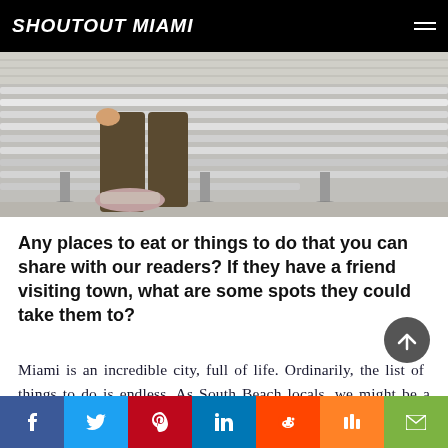SHOUTOUT MIAMI
[Figure (photo): Partial view of a person standing near a metal bench with horizontal slats, outdoor setting]
Any places to eat or things to do that you can share with our readers? If they have a friend visiting town, what are some spots they could take them to?
Miami is an incredible city, full of life. Ordinarily, the list of things to do is endless. As South Beach locals, we might be a bit biased, but the beach is always a must! Having said that, right now we would tell our best friends not to visit